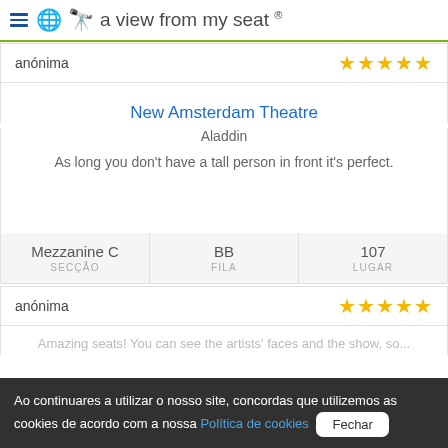a view from my seat ®
anónima
New Amsterdam Theatre
Aladdin
As long you don't have a tall person in front it's perfect.
| SECÇÃO | FILA | LUGAR |
| --- | --- | --- |
| Mezzanine C | BB | 107 |
anónima
Ao continuares a utilizar o nosso site, concordas que utilizemos as cookies de acordo com a nossa Política de cookies  Fechar